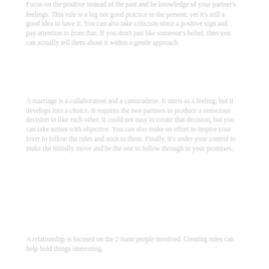Focus on the positive instead of the past and be knowledge of your partner's feelings. This rule is a big not good practice in the present, yet it's still a good idea to have it. You can also take criticism since a positive sign and pay attention to from that. If you don't just like someone's belief, then you can actually tell them about it within a gentle approach.
A marriage is a collaboration and a camaraderie. It starts as a feeling, but it develops into a choice. It requires the two partners to produce a conscious decision to like each other. It could not easy to create that decision, but you can take action with objective. You can also make an effort to inspire your lover to follow the rules and stick to them. Finally, it's under your control to make the initially move and be the one to follow through in your promises.
A relationship is focused on the 2 main people involved. Creating rules can help hold things interesting.